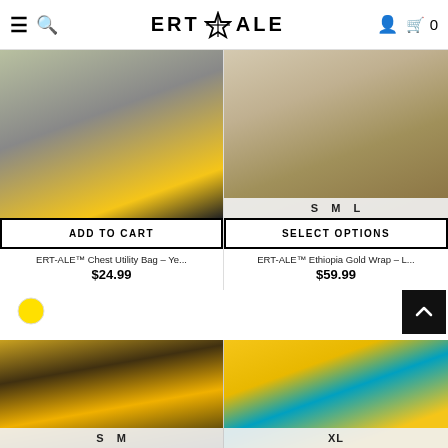ERT ALE — navigation header with hamburger menu, search, logo, user, cart
[Figure (photo): Product photo top portion of person wearing yellow and black outfit (Chest Utility Bag)]
ADD TO CART
ERT-ALE™ Chest Utility Bag – Ye...
$24.99
[Figure (photo): Product photo showing size options S M L for Ethiopia Gold Wrap]
SELECT OPTIONS
ERT-ALE™ Ethiopia Gold Wrap – L...
$59.99
[Figure (photo): Man with dreadlocks wearing black t-shirt with yellow patterned design, size S M available]
[Figure (photo): Woman in yellow t-shirt with purple pocket design, size XL available]